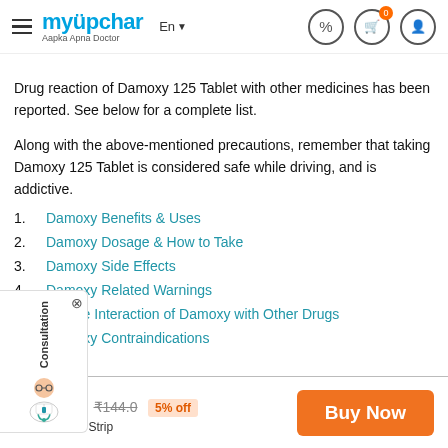myUpchar — Aapka Apna Doctor
Drug reaction of Damoxy 125 Tablet with other medicines has been reported. See below for a complete list.
Along with the above-mentioned precautions, remember that taking Damoxy 125 Tablet is considered safe while driving, and is addictive.
1.   Damoxy Benefits & Uses
2.   Damoxy Dosage & How to Take
3.   Damoxy Side Effects
4.   Damoxy Related Warnings
5.   Severe Interaction of Damoxy with Other Drugs
6.   Damoxy Contraindications
₹136.8  ₹144.0  5% off  10 Tablet in 1 Strip  Buy Now